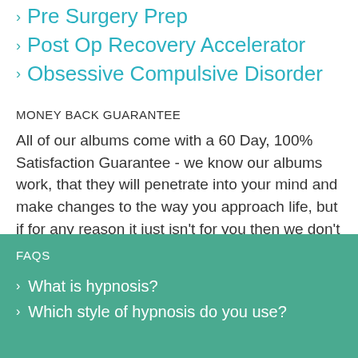Pre Surgery Prep
Post Op Recovery Accelerator
Obsessive Compulsive Disorder
MONEY BACK GUARANTEE
All of our albums come with a 60 Day, 100% Satisfaction Guarantee - we know our albums work, that they will penetrate into your mind and make changes to the way you approach life, but if for any reason it just isn't for you then we don't want to keep your money.
FAQS
What is hypnosis?
Which style of hypnosis do you use?